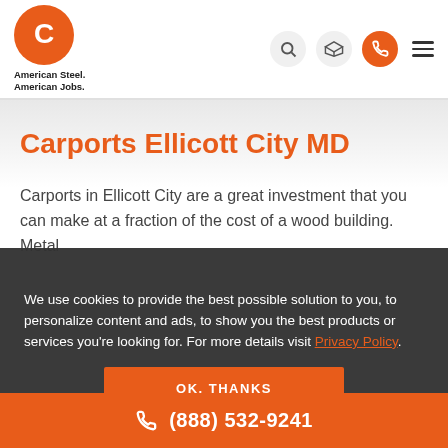[Figure (logo): Central Steel Buildings logo — orange circle with white C, tagline 'American Steel. American Jobs.' below]
Carports Ellicott City MD
Carports in Ellicott City are a great investment that you can make at a fraction of the cost of a wood building. Metal
We use cookies to provide the best possible solution to you, to personalize content and ads, to show you the best products or services you're looking for. For more details visit Privacy Policy.
OK, THANKS
(888) 532-9241